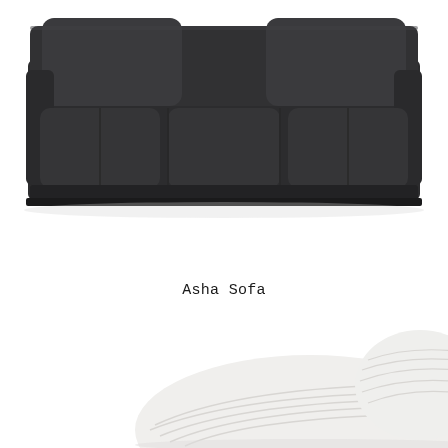[Figure (photo): A dark charcoal/dark gray upholstered three-seat sofa photographed from the front on a white background. The sofa has three cushions and two back pillows.]
Asha Sofa
[Figure (photo): Partial view of a white ribbed/textured upholstered chair or sofa, shown from above at an angle, against a white background. Only the top portion of the furniture is visible.]